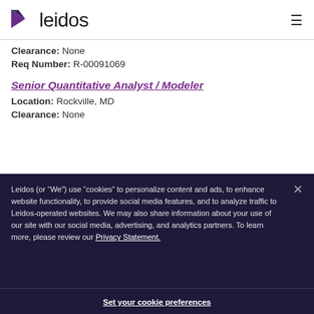[Figure (logo): Leidos company logo with purple/gray arrow icon and 'leidos' wordmark]
Clearance: None
Req Number: R-00091069
Senior Quantitative Analyst / Modeler
Location: Rockville, MD
Clearance: None
Leidos (or “We”) use “cookies” to personalize content and ads, to enhance website functionality, to provide social media features, and to analyze traffic to Leidos-operated websites. We may also share information about your use of our site with our social media, advertising, and analytics partners. To learn more, please review our Privacy Statement.
Set your cookie preferences